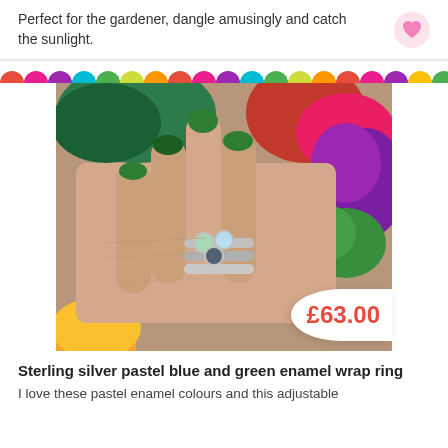Perfect for the gardener, dangle amusingly and catch the sunlight.
[Figure (other): Decorative scallop/wave border in multiple colors: red, pink, purple, teal, green, orange, yellow repeating across full width]
[Figure (photo): Close-up photo of a hand with dark green nail polish wearing a sterling silver wrap ring with pastel blue and green enamel round cabochons, set against a colorful floral background. Price badge showing £63.00 in bottom right corner.]
Sterling silver pastel blue and green enamel wrap ring
I love these pastel enamel colours and this adjustable